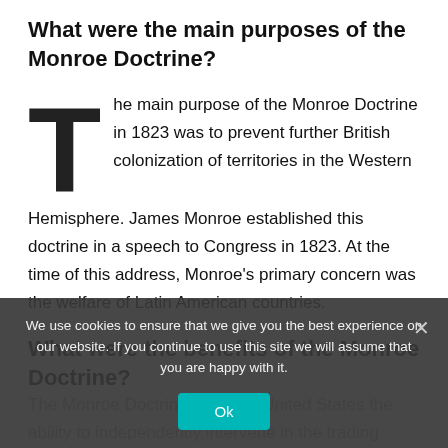What were the main purposes of the Monroe Doctrine?
The main purpose of the Monroe Doctrine in 1823 was to prevent further British colonization of territories in the Western Hemisphere. James Monroe established this doctrine in a speech to Congress in 1823. At the time of this address, Monroe's primary concern was the welfare of Latin American countries.
What were the benefits of the Monroe Doctrine?
The Monroe Doctrine gave the United States the ability to independently intervene in the trading economy. Having the ability to save and be saved...
We use cookies to ensure that we give you the best experience on our website. If you continue to use this site we will assume that you are happy with it.